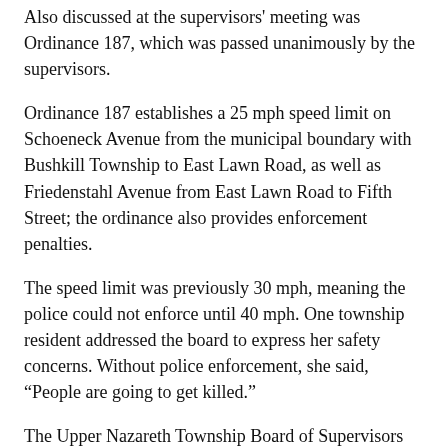Also discussed at the supervisors' meeting was Ordinance 187, which was passed unanimously by the supervisors.
Ordinance 187 establishes a 25 mph speed limit on Schoeneck Avenue from the municipal boundary with Bushkill Township to East Lawn Road, as well as Friedenstahl Avenue from East Lawn Road to Fifth Street; the ordinance also provides enforcement penalties.
The speed limit was previously 30 mph, meaning the police could not enforce until 40 mph. One township resident addressed the board to express her safety concerns. Without police enforcement, she said, “People are going to get killed.”
The Upper Nazareth Township Board of Supervisors will meet next on Monday, Jan. 3 at 7 p.m. for the annual reorganization meeting.